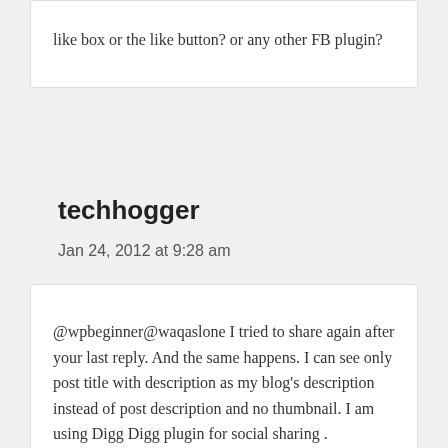like box or the like button? or any other FB plugin?
techhogger
Jan 24, 2012 at 9:28 am
@wpbeginner@waqaslone I tried to share again after your last reply. And the same happens. I can see only post title with description as my blog's description instead of post description and no thumbnail. I am using Digg Digg plugin for social sharing .